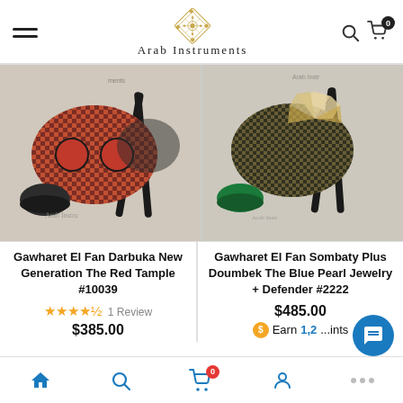Arab Instruments
[Figure (photo): Gawharet El Fan Darbuka decorated with red and black mosaic pattern on a stand]
[Figure (photo): Gawharet El Fan Sombaty Plus Doumbek with blue pearl jewelry decoration on a stand]
Gawharet El Fan Darbuka New Generation The Red Tample #10039
1 Review
$385.00
Gawharet El Fan Sombaty Plus Doumbek The Blue Pearl Jewelry + Defender #2222
$485.00
Earn 1,2... ints
Home | Search | Cart (0) | Account | Chat | ...